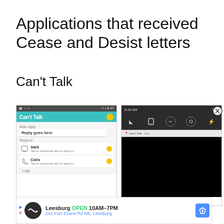Applications that received Cease and Desist letters
Can't Talk
[Figure (screenshot): Two screenshots of the 'Can't Talk' Android app showing auto-reply settings for SMS and Calls, with a notification panel screenshot showing the app notification.]
Leesburg OPEN 10AM–7PM 241 Fort Evans Rd NE, Leesburg